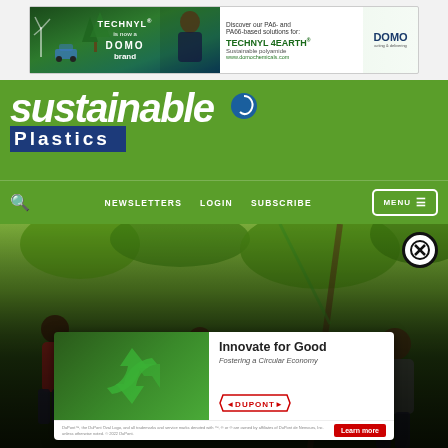[Figure (photo): Advertisement banner for TECHNYL 4EARTH by DOMO Chemicals - PA6 and PA66 based sustainable polyamide solutions]
[Figure (logo): Sustainable Plastics magazine logo - white italic text on green background with blue Plastics bar]
NEWSLETTERS   LOGIN   SUBSCRIBE   MENU
[Figure (photo): Hero image showing outdoor tropical scene with people working among trees and greenery]
ADVERTISEMENT
[Figure (photo): DuPont advertisement - Innovate for Good, Fostering a Circular Economy with recycling symbol and DuPont logo and Learn more button]